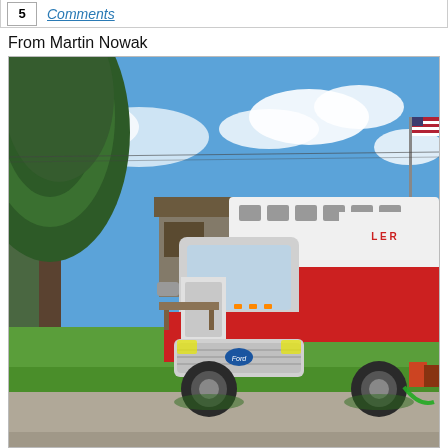5  Comments
From Martin Nowak
[Figure (photo): An ambulance (fire/EMS truck) with red and white coloring, numbered 924, parked on green grass in a suburban area with a large pine tree on the left, a building in the background, an American flag on a pole at the right, and a blue sky with white clouds. The vehicle is a Ford F-series heavy duty chassis with a box ambulance body.]